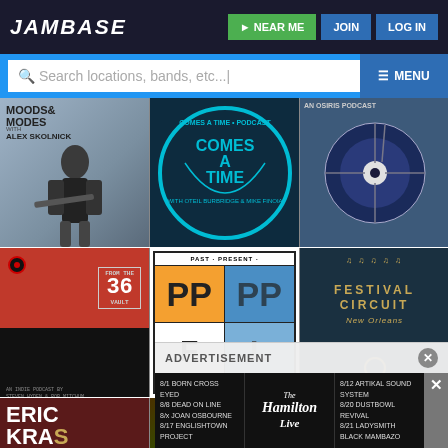JamBase | NEAR ME | JOIN | LOG IN
Search locations, bands, etc... | MENU
[Figure (screenshot): JamBase website screenshot showing podcast/show thumbnails grid including: Moods & Modes with Alex Skolnick, Comes A Time with Oteil Burbridge & Mike Finoia, An Osiris Podcast, From The Vault 36 by Steven Hyden & Rob Mitchell, Past Present Future Live (PPFL), Festival Circuit New Orleans, Eric Krasno, After Midnight, The Road To Now]
ADVERTISEMENT
8/1 BORN CROSS EYED
8/8 DEAD ON LINE
8/x JOAN OSBOURNE
8/17 ENGLISHTOWN PROJECT
The Hamilton Live
8/12 ARTIKAL SOUND SYSTEM
8/20 DUSTBOWL REVIVAL
8/21 LADYSMITH BLACK MAMBAZO